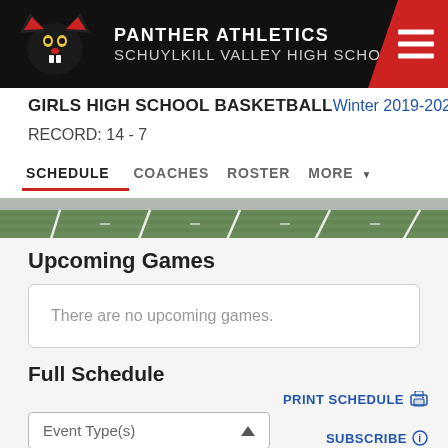PANTHER ATHLETICS SCHUYLKILL VALLEY HIGH SCHOOL
GIRLS HIGH SCHOOL BASKETBALL
Winter 2019-2020
RECORD: 14 - 7
SCHEDULE  COACHES  ROSTER  MORE
[Figure (photo): Football field with white yard lines on green turf, landscape strip]
Upcoming Games
There are no upcoming games.
Full Schedule
PRINT SCHEDULE
Event Type(s)
SUBSCRIBE